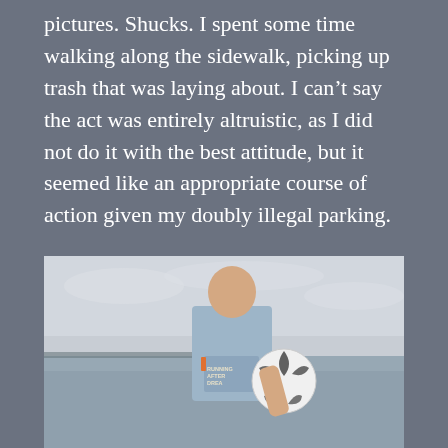pictures. Shucks. I spent some time walking along the sidewalk, picking up trash that was laying about. I can't say the act was entirely altruistic, as I did not do it with the best attitude, but it seemed like an appropriate course of action given my doubly illegal parking.
I got my pictures and got out of town.
[Figure (photo): A man standing outdoors near a body of water on an overcast day, holding a soccer ball. He is wearing a light blue t-shirt that reads 'RUNNING AFTER DREAMS' (partially visible). The background shows calm water and a grey sky.]